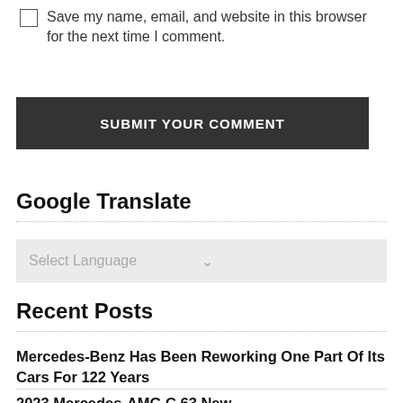Save my name, email, and website in this browser for the next time I comment.
SUBMIT YOUR COMMENT
Google Translate
Select Language
Recent Posts
Mercedes-Benz Has Been Reworking One Part Of Its Cars For 122 Years
2023 Mercedes-AMG C 63 New